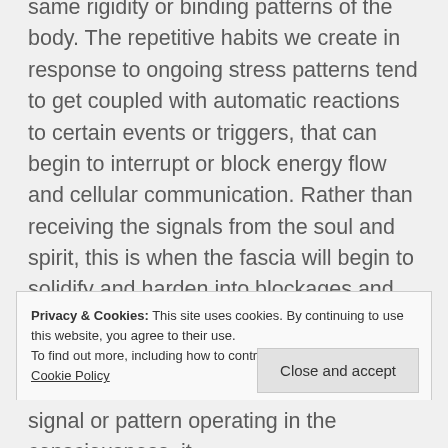same rigidity or binding patterns of the body. The repetitive habits we create in response to ongoing stress patterns tend to get coupled with automatic reactions to certain events or triggers, that can begin to interrupt or block energy flow and cellular communication. Rather than receiving the signals from the soul and spirit, this is when the fascia will begin to solidify and harden into blockages and rigid holding patterns.
Privacy & Cookies: This site uses cookies. By continuing to use this website, you agree to their use. To find out more, including how to control cookies, see here: Cookie Policy
Close and accept
signal or pattern operating in the consciousness, it